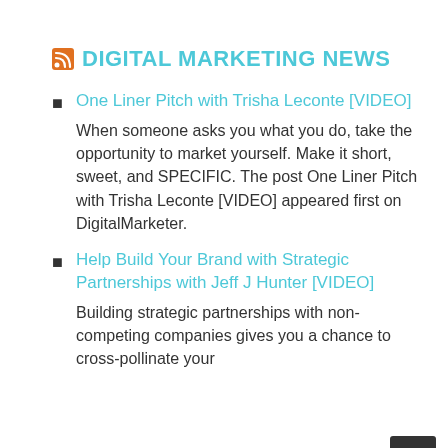DIGITAL MARKETING NEWS
One Liner Pitch with Trisha Leconte [VIDEO]
When someone asks you what you do, take the opportunity to market yourself. Make it short, sweet, and SPECIFIC. The post One Liner Pitch with Trisha Leconte [VIDEO] appeared first on DigitalMarketer.
Help Build Your Brand with Strategic Partnerships with Jeff J Hunter [VIDEO]
Building strategic partnerships with non-competing companies gives you a chance to cross-pollinate your